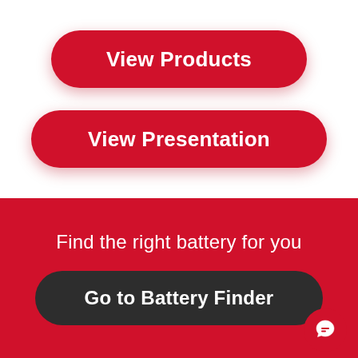[Figure (screenshot): Red rounded button labeled 'View Products']
[Figure (screenshot): Red rounded button labeled 'View Presentation']
Find the right battery for you
[Figure (screenshot): Dark rounded button labeled 'Go to Battery Finder']
[Figure (other): Red circular chat bubble icon in bottom-right corner]